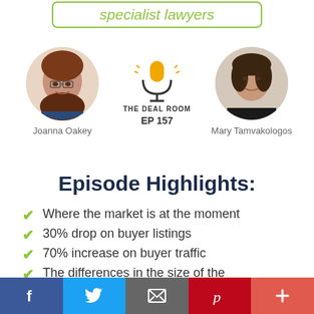specialist lawyers
[Figure (photo): Podcast episode graphic showing two circular headshots (Joanna Oakey and Mary Tamvakologos) flanking a microphone logo for The Deal Room podcast, EP 157]
Episode Highlights:
Where the market is at the moment
30% drop on buyer listings
70% increase on buyer traffic
The differences in the size of the
[Figure (infographic): Social media share bar with Facebook, Twitter, email, Pinterest, and plus buttons]